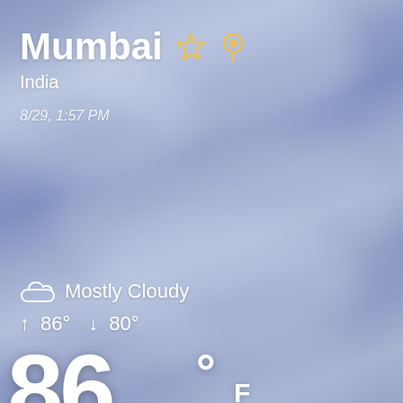Mumbai ☆ ⊙
India
8/29, 1:57 PM
Mostly Cloudy
↑ 86° ↓ 80°
86°F